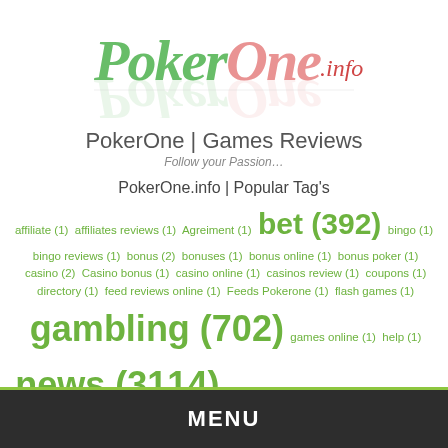[Figure (logo): PokerOne.info logo with green and pink handwritten-style text and reflection]
PokerOne | Games Reviews
Follow your Passion...
PokerOne.info | Popular Tag's
affiliate (1) affiliates reviews (1) Agreiment (1) bet (392) bingo (1) bingo reviews (1) bonus (2) bonuses (1) bonus online (1) bonus poker (1) casino (2) Casino bonus (1) casino online (1) casinos review (1) coupons (1) directory (1) feed reviews online (1) Feeds Pokerone (1) flash games (1) gambling (702) games online (1) help (1) news (3114) offers (1) online (1) poker (1) poker one (1) pokerone (2) poker online (1) promotes (1) reviews (1) rss gambling (1) rss games online (1) site (1) sports (1) sportsbooks (1) sports real time (1) videos (1)
MENU